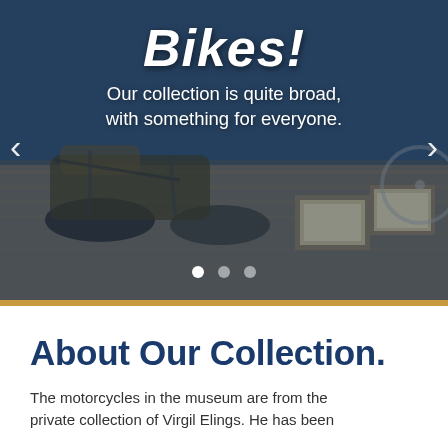[Figure (photo): Hero image carousel showing a motorcycle museum interior with vintage motorcycles on a wooden floor, framed certificates on display. White text overlays read 'Bikes!' and 'Our collection is quite broad, with something for everyone.' Navigation arrows on left and right. Three carousel indicator dots at bottom.]
About Our Collection.
The motorcycles in the museum are from the private collection of Virgil Elings. He has been